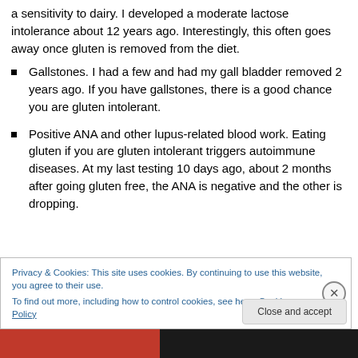a sensitivity to dairy. I developed a moderate lactose intolerance about 12 years ago. Interestingly, this often goes away once gluten is removed from the diet.
Gallstones. I had a few and had my gall bladder removed 2 years ago. If you have gallstones, there is a good chance you are gluten intolerant.
Positive ANA and other lupus-related blood work. Eating gluten if you are gluten intolerant triggers autoimmune diseases. At my last testing 10 days ago, about 2 months after going gluten free, the ANA is negative and the other is dropping.
Privacy & Cookies: This site uses cookies. By continuing to use this website, you agree to their use.
To find out more, including how to control cookies, see here: Cookie Policy
Close and accept